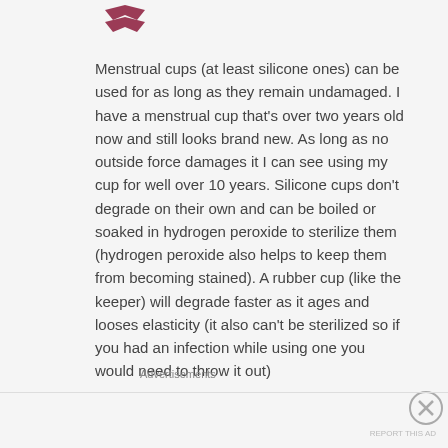[Figure (logo): Dark red/maroon logo with arrow or chevron symbol]
Menstrual cups (at least silicone ones) can be used for as long as they remain undamaged. I have a menstrual cup that's over two years old now and still looks brand new. As long as no outside force damages it I can see using my cup for well over 10 years. Silicone cups don't degrade on their own and can be boiled or soaked in hydrogen peroxide to sterilize them (hydrogen peroxide also helps to keep them from becoming stained). A rubber cup (like the keeper) will degrade faster as it ages and looses elasticity (it also can't be sterilized so if you had an infection while using one you would need to throw it out)
Advertisements